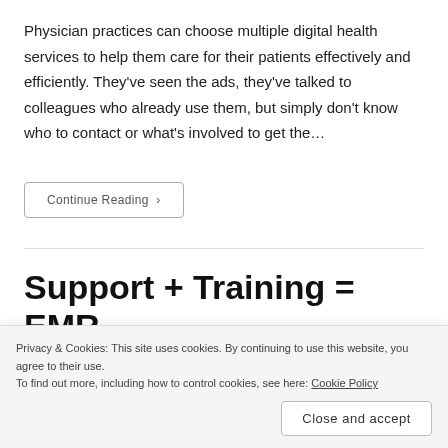Physician practices can choose multiple digital health services to help them care for their patients effectively and efficiently. They've seen the ads, they've talked to colleagues who already use them, but simply don't know who to contact or what's involved to get the…
Continue Reading ›
Support + Training = EMR Knowledge for Better Patient…
Privacy & Cookies: This site uses cookies. By continuing to use this website, you agree to their use. To find out more, including how to control cookies, see here: Cookie Policy
Close and accept